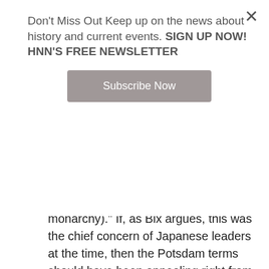Don't Miss Out Keep up on the news about history and current events. SIGN UP NOW! HNN'S FREE NEWSLETTER
Subscribe Now
monarchy). If, as Bix argues, this was the chief concern of Japanese leaders at the time, then the Potsdam terms should have been appealing right from the start. There may be some historical truth buried within his confused description of events, but it is not easily discernible to those not already familiar with Japan's interaction with, and attitudes about, Russia.
-- Bix makes superfluous and unfounded claims throughout his article about the role of the US in recent world history. He claims for example, that Vietnam and the current war in Iraq were wars of aggression on par with Japan's imperial expansion in the years leading up to WWII. He also describes America's treatment of Hirohito as “selfish,” with the implication that it was done exclusively to spare Truman and Macarthur the need to apologize for their conduct during the war. Reasonable people might debate